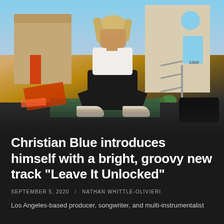[Figure (photo): A person with dreadlocks squatting on a metal grate platform outside an urban building in Los Angeles, wearing a white shirt, black pants, and white sneakers, covering their face with their hands. Sunny outdoor setting with beige/tan buildings visible in background.]
Christian Blue introduces himself with a bright, groovy new track "Leave It Unlocked"
SEPTEMBER 5, 2020   /   NATHAN WHITTLE-OLIVIERI
Los Angeles-based producer, songwriter, and multi-instrumentalist